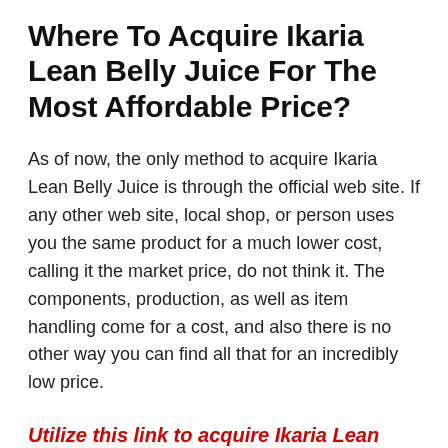Where To Acquire Ikaria Lean Belly Juice For The Most Affordable Price?
As of now, the only method to acquire Ikaria Lean Belly Juice is through the official web site. If any other web site, local shop, or person uses you the same product for a much lower cost, calling it the market price, do not think it. The components, production, as well as item handling come for a cost, and also there is no other way you can find all that for an incredibly low price.
Utilize this link to acquire Ikaria Lean Belly Juice from the main site straight.